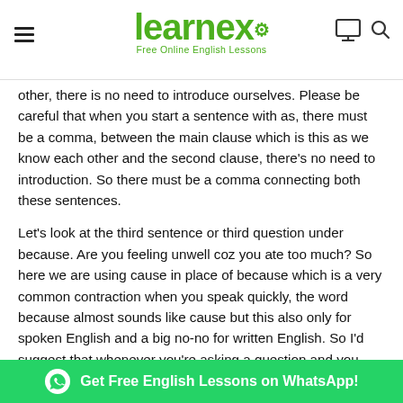learnex — Free Online English Lessons
other, there is no need to introduce ourselves. Please be careful that when you start a sentence with as, there must be a comma, between the main clause which is this as we know each other and the second clause, there's no need to introduction. So there must be a comma connecting both these sentences.
Let's look at the third sentence or third question under because. Are you feeling unwell coz you ate too much? So here we are using cause in place of because which is a very common contraction when you speak quickly, the word because almost sounds like cause but this also only for spoken English and a big no-no for written English. So I'd suggest that whenever you're asking a question and you want to put up a reason within the question. So are you feeling unwell? That's a situation; the reason is because somebody ate too much. So you have a question and a reason to... and a reason together, you should use only because and not as.
Get Free English Lessons on WhatsApp!